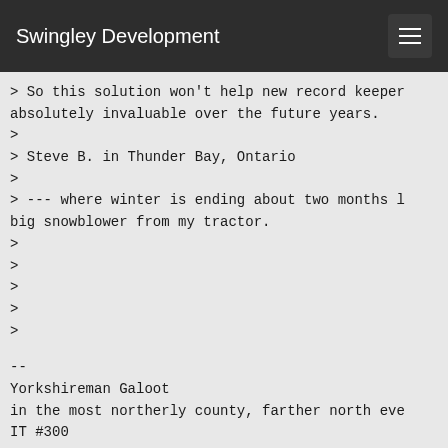Swingley Development
> So this solution won't help new record keepers, but it will be absolutely invaluable over the future years.
>
> Steve B. in Thunder Bay, Ontario
>
> --- where winter is ending about two months late, and I just removed the big snowblower from my tractor.
>
>
>
>
>
--
Yorkshireman Galoot
in the most northerly county, farther north ever
IT #300